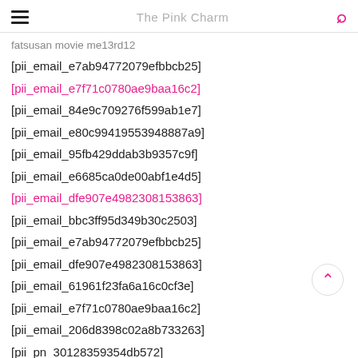The Pink Charm
fatsusan movie me13rd12
[pii_email_e7ab94772079efbbcb25]
[pii_email_e7f71c0780ae9baa16c2]
[pii_email_84e9c709276f599ab1e7]
[pii_email_e80c99419553948887a9]
[pii_email_95fb429ddab3b9357c9f]
[pii_email_e6685ca0de00abf1e4d5]
[pii_email_dfe907e4982308153863]
[pii_email_bbc3ff95d349b30c2503]
[pii_email_e7ab94772079efbbcb25]
[pii_email_dfe907e4982308153863]
[pii_email_61961f23fa6a16c0cf3e]
[pii_email_e7f71c0780ae9baa16c2]
[pii_email_206d8398c02a8b733263]
[pii_pn_30128359354db572]
[pii_pn_e86f3e1204164bd8]